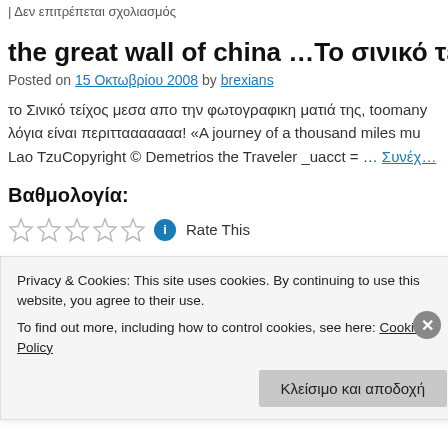| Δεν επιτρέπεται σχολιασμός
the great wall of china …Το σινικό τείχος
Posted on 15 Οκτωβρίου 2008 by brexians
το Σινικό τείχος μεσα απο την φωτογραφικη ματιά της, toomany λόγια είναι περιττααααααα! «A journey of a thousand miles mu Lao TzuCopyright © Demetrios the Traveler _uacct = … Συνέχ…
Βαθμολογία:
Rate This
Posted in PHOTOS | Tagged ARCHITECTURE WONDERS, CHINA, PHOTO
Privacy & Cookies: This site uses cookies. By continuing to use this website, you agree to their use.
To find out more, including how to control cookies, see here: Cookie Policy
Κλείσιμο και αποδοχή